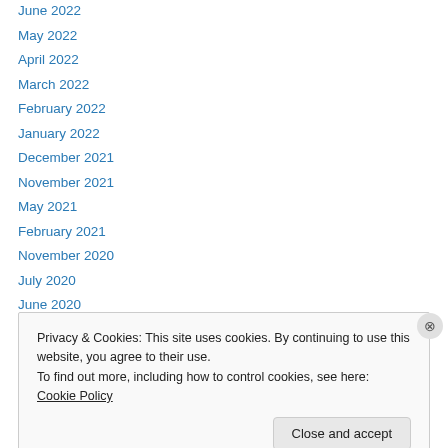June 2022
May 2022
April 2022
March 2022
February 2022
January 2022
December 2021
November 2021
May 2021
February 2021
November 2020
July 2020
June 2020
Privacy & Cookies: This site uses cookies. By continuing to use this website, you agree to their use.
To find out more, including how to control cookies, see here: Cookie Policy
Close and accept